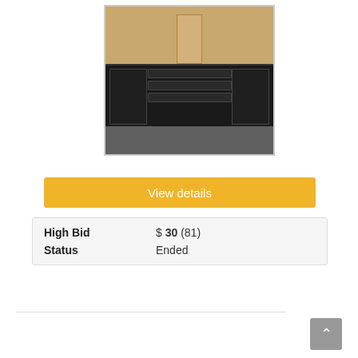[Figure (photo): Photo of a black wood cabinet/sideboard with drawers and cabinet doors, sitting on a concrete floor in a warehouse. Above it are unpainted wood cabinet frames and shelves leaning against the wall.]
View details
| High Bid | $ 30 (81) |
| Status | Ended |